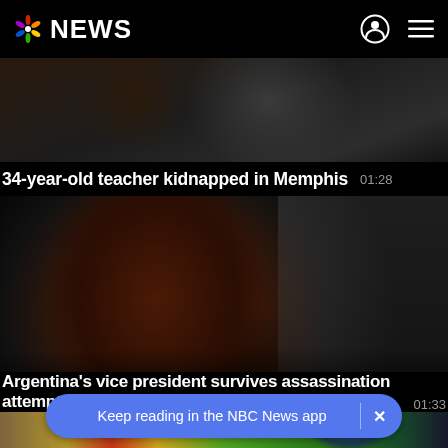NBC NEWS
[Figure (screenshot): Dark video thumbnail showing a person, partial view, with dark background]
34-year-old teacher kidnapped in Memphis  01:28
[Figure (photo): A woman with dark reddish-brown hair smiling, Argentina vice president, dark background]
Argentina's vice president survives assassination attempt  01:33
[Figure (photo): Colorful blurred objects, partial strip at bottom of page]
Keep reading in the NBC News app  ×